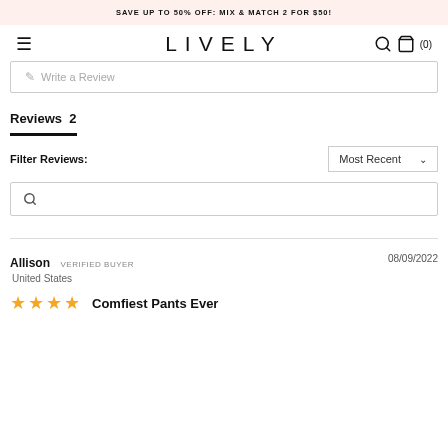SAVE UP TO 50% OFF: MIX & MATCH 2 FOR $50!
[Figure (screenshot): LIVELY brand navigation bar with hamburger menu, logo, search icon, and shopping bag icon showing (0)]
✎ Write a Review
Reviews 2
Filter Reviews:
Most Recent
Allison  VERIFIED BUYER  08/09/2022  United States
Comfiest Pants Ever